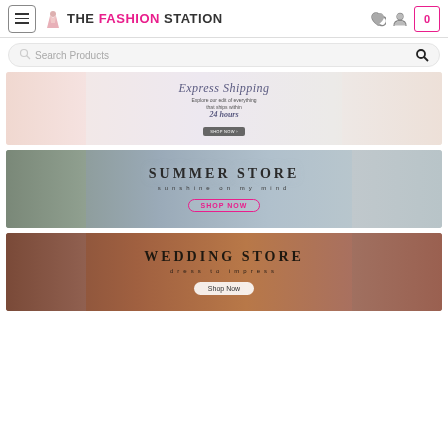THE FASHION STATION
Search Products
[Figure (screenshot): Express Shipping banner with text: Express Shipping. Explore our edit of everything that ships within 24 hours. SHOP NOW button.]
[Figure (screenshot): Summer Store banner with text: SUMMER STORE. sunshine on my mind. SHOP NOW button.]
[Figure (screenshot): Wedding Store banner with text: WEDDING STORE. dress to impress. Shop Now button.]